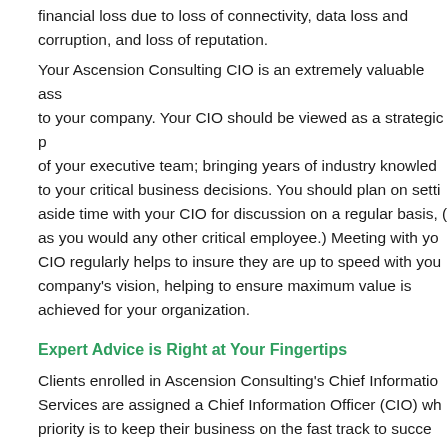financial loss due to loss of connectivity, data loss and corruption, and loss of reputation.
Your Ascension Consulting CIO is an extremely valuable asset to your company. Your CIO should be viewed as a strategic part of your executive team; bringing years of industry knowledge to your critical business decisions. You should plan on setting aside time with your CIO for discussion on a regular basis, (as you would any other critical employee.) Meeting with your CIO regularly helps to insure they are up to speed with your company's vision, helping to ensure maximum value is achieved for your organization.
Expert Advice is Right at Your Fingertips
Clients enrolled in Ascension Consulting's Chief Information Services are assigned a Chief Information Officer (CIO) whose priority is to keep their business on the fast track to success.